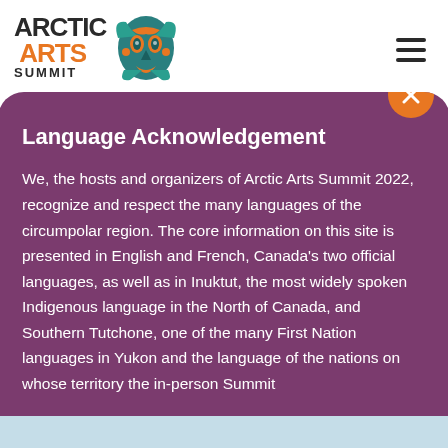Arctic Arts Summit
Language Acknowledgement
We, the hosts and organizers of Arctic Arts Summit 2022, recognize and respect the many languages of the circumpolar region. The core information on this site is presented in English and French, Canada's two official languages, as well as in Inuktut, the most widely spoken Indigenous language in the North of Canada, and Southern Tutchone, one of the many First Nation languages in Yukon and the language of the nations on whose territory the in-person Summit